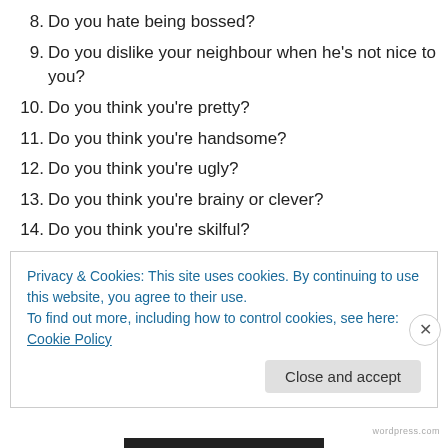8. Do you hate being bossed?
9. Do you dislike your neighbour when he's not nice to you?
10. Do you think you're pretty?
11. Do you think you're handsome?
12. Do you think you're ugly?
13. Do you think you're brainy or clever?
14. Do you think you're skilful?
15. Do you think you are good?
16. Do you think you are bad?
17. What do you do when you get corrected?
Privacy & Cookies: This site uses cookies. By continuing to use this website, you agree to their use. To find out more, including how to control cookies, see here: Cookie Policy